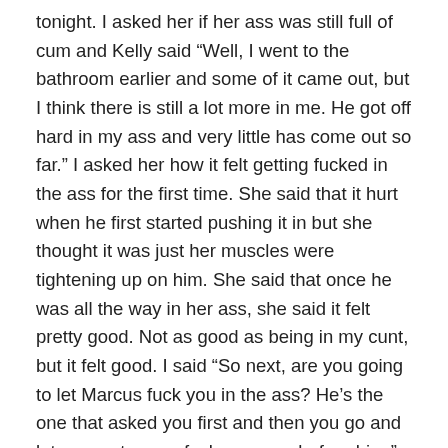tonight. I asked her if her ass was still full of cum and Kelly said “Well, I went to the bathroom earlier and some of it came out, but I think there is still a lot more in me. He got off hard in my ass and very little has come out so far.” I asked her how it felt getting fucked in the ass for the first time. She said that it hurt when he first started pushing it in but she thought it was just her muscles were tightening up on him. She said that once he was all the way in her ass, she said it felt pretty good. Not as good as being in my cunt, but it felt good. I said “So next, are you going to let Marcus fuck you in the ass? He’s the one that asked you first and then you go and let some stranger fuck your ass before him.” Kelly said that when they pulled into that parking lot to fuck, she said that he asked her if she would let him fuck her ass sometime. She said she told him she would, but just not